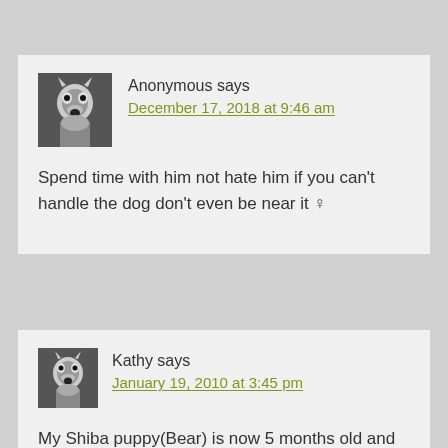Anonymous says
December 17, 2018 at 9:46 am

Spend time with him not hate him if you can't handle the dog don't even be near it ♀
Kathy says
January 19, 2010 at 3:45 pm

My Shiba puppy(Bear) is now 5 months old and is the